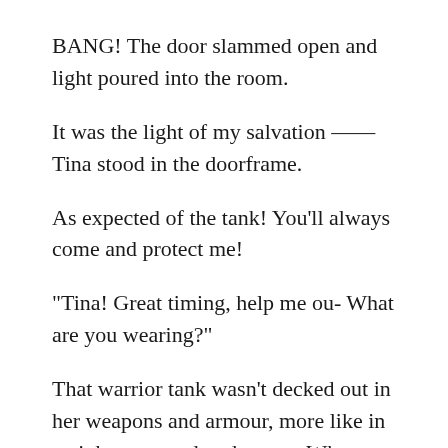BANG! The door slammed open and light poured into the room.
It was the light of my salvation —— Tina stood in the doorframe.
As expected of the tank! You'll always come and protect me!
“Tina! Great timing, help me ou- What are you wearing?”
That warrior tank wasn’t decked out in her weapons and armour, more like in a nightgown and underwear. Where on earth did she get those naughty looking things from? That